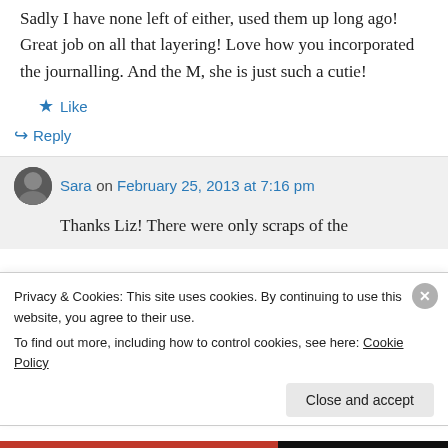Sadly I have none left of either, used them up long ago! Great job on all that layering! Love how you incorporated the journalling. And the M, she is just such a cutie!
★ Like
↪ Reply
Sara on February 25, 2013 at 7:16 pm
Thanks Liz! There were only scraps of the
Privacy & Cookies: This site uses cookies. By continuing to use this website, you agree to their use.
To find out more, including how to control cookies, see here: Cookie Policy
Close and accept